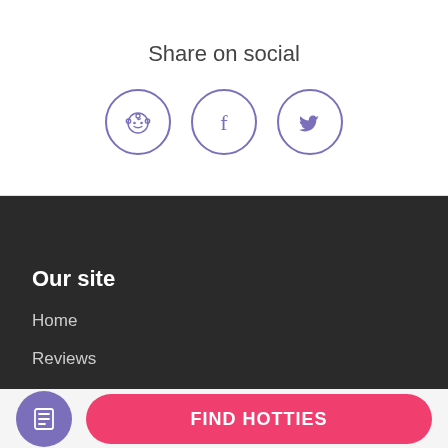Share on social
[Figure (illustration): Three social media icon circles: Reddit, Facebook, Twitter, rendered in purple/violet outline style]
Our site
Home
Reviews
[Figure (illustration): Purple circular notes/list icon button]
FIND HOTTIES